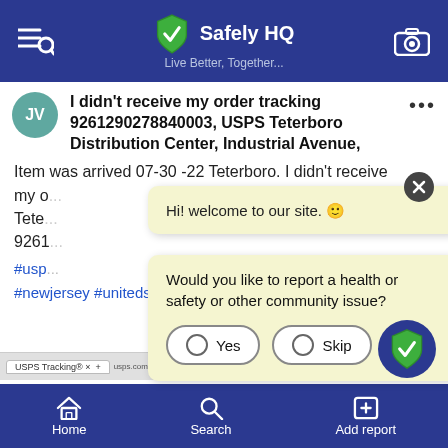Safely HQ – Live Better, Together...
I didn't receive my order tracking 9261290278840003, USPS Teterboro Distribution Center, Industrial Avenue,
Item was arrived 07-30 -22 Teterboro. I didn't receive my order from Teterboro. 9261...
#usps #newjersey #unitedstates
Hi! welcome to our site. 🙂
Would you like to report a health or safety or other community issue?
Home   Search   Add report